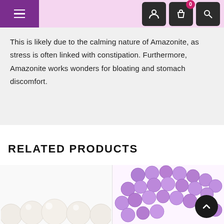Navigation header with menu button and icons
This is likely due to the calming nature of Amazonite, as stress is often linked with constipation. Furthermore, Amazonite works wonders for bloating and stomach discomfort.
RELATED PRODUCTS
[Figure (photo): White/cream round beads strand photographed from below against light background]
[Figure (photo): Purple/amethyst round beads strand coiled, with dark circular scroll-to-top button overlay]